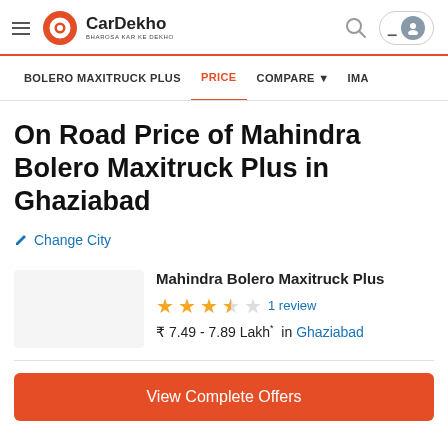CarDekho - BHAROSA KAR KE DEKHO
BOLERO MAXITRUCK PLUS | PRICE | COMPARE | IMA
On Road Price of Mahindra Bolero Maxitruck Plus in Ghaziabad
✏ Change City
Mahindra Bolero Maxitruck Plus
★★★½☆ 1 review
₹ 7.49 - 7.89 Lakh* in Ghaziabad
View Complete Offers